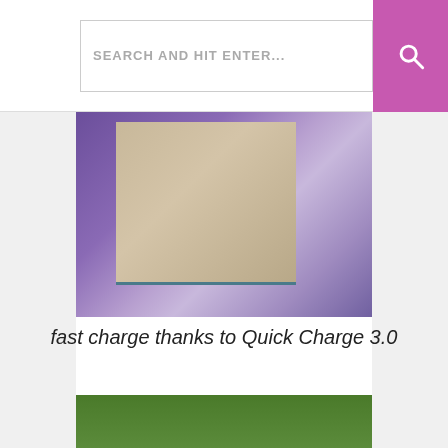[Figure (screenshot): Search bar UI element with placeholder text 'SEARCH AND HIT ENTER...' and a purple/magenta search icon button on the right]
[Figure (photo): A plain cardboard/kraft paper box sitting on a purple fabric background]
fast charge thanks to Quick Charge 3.0
[Figure (photo): Side of a Lumsing product box showing brand name 'lumsing', tagline 'Simply Connected', email 'support@lumsing.com', website 'http://www.lumsing.com', with green foliage and purple fabric in background]